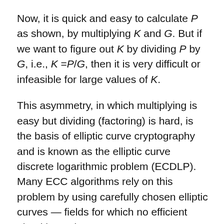Now, it is quick and easy to calculate P as shown, by multiplying K and G. But if we want to figure out K by dividing P by G, i.e., K =P/G, then it is very difficult or infeasible for large values of K.
This asymmetry, in which multiplying is easy but dividing (factoring) is hard, is the basis of elliptic curve cryptography and is known as the elliptic curve discrete logarithmic problem (ECDLP). Many ECC algorithms rely on this problem by using carefully chosen elliptic curves — fields for which no efficient algorithm exists.
In ECC encryption, K is the private key, P is the public key, and G is the generator point. By understanding ECDLP as shown above, we know that given a generator point G, it's very easy to figure out public key P on the elliptic curve by multiplying G by private key K. But even with the